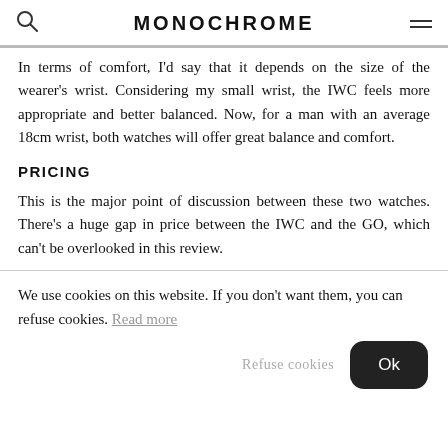MONOCHROME
In terms of comfort, I'd say that it depends on the size of the wearer's wrist. Considering my small wrist, the IWC feels more appropriate and better balanced. Now, for a man with an average 18cm wrist, both watches will offer great balance and comfort.
PRICING
This is the major point of discussion between these two watches. There’s a huge gap in price between the IWC and the GO, which can’t be overlooked in this review.
We use cookies on this website. If you don't want them, you can refuse cookies. Read more